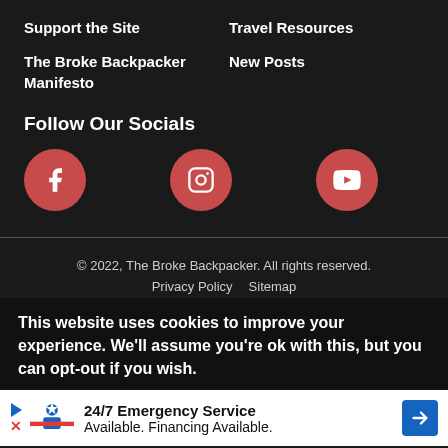Support the Site
Travel Resources
The Broke Backpacker Manifesto
New Posts
Follow Our Socials
[Figure (infographic): Four red circular social media icons in a row: Facebook, Instagram, YouTube, Pinterest]
© 2022, The Broke Backpacker. All rights reserved.
Privacy Policy   Sitemap
This website uses cookies to improve your experience. We'll assume you're ok with this, but you can opt-out if you wish.
[Figure (infographic): Advertisement banner: 24/7 Emergency Service Available. Financing Available. With a logo and navigation arrow icon.]